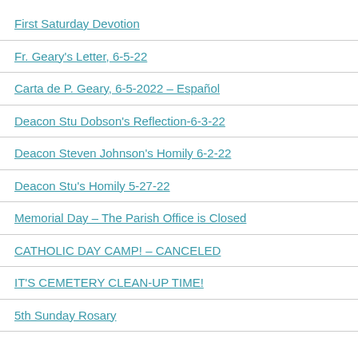First Saturday Devotion
Fr. Geary's Letter, 6-5-22
Carta de P. Geary, 6-5-2022 – Español
Deacon Stu Dobson's Reflection-6-3-22
Deacon Steven Johnson's Homily 6-2-22
Deacon Stu's Homily 5-27-22
Memorial Day – The Parish Office is Closed
CATHOLIC DAY CAMP! – CANCELED
IT'S CEMETERY CLEAN-UP TIME!
5th Sunday Rosary